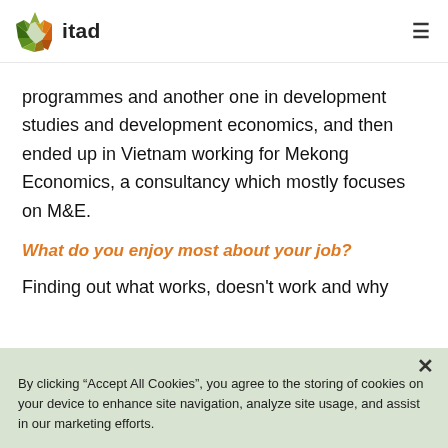itad
programmes and another one in development studies and development economics, and then ended up in Vietnam working for Mekong Economics, a consultancy which mostly focuses on M&E.
What do you enjoy most about your job?
Finding out what works, doesn't work and why
By clicking “Accept All Cookies”, you agree to the storing of cookies on your device to enhance site navigation, analyze site usage, and assist in our marketing efforts.